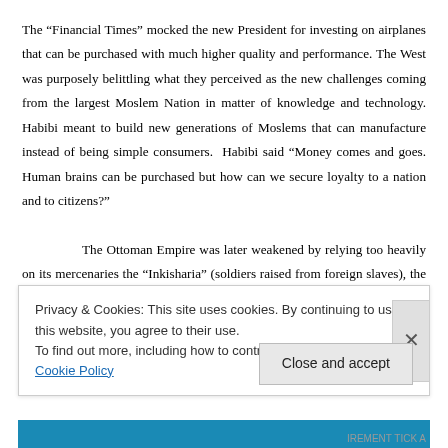The “Financial Times” mocked the new President for investing on airplanes that can be purchased with much higher quality and performance. The West was purposely belittling what they perceived as the new challenges coming from the largest Moslem Nation in matter of knowledge and technology. Habibi meant to build new generations of Moslems that can manufacture instead of being simple consumers. Habibi said “Money comes and goes. Human brains can be purchased but how can we secure loyalty to a nation and to citizens?”
The Ottoman Empire was later weakened by relying too heavily on its mercenaries the “Inkisharia” (soldiers raised from foreign slaves), the Arab Empire also later suffered from their integration and hiring of foreign mercenaries...
Privacy & Cookies: This site uses cookies. By continuing to use this website, you agree to their use.
To find out more, including how to control cookies, see here: Cookie Policy